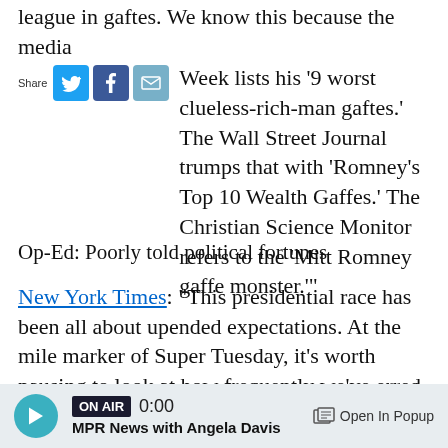league in gaftes. We know this because the media Week lists his '9 worst clueless-rich-man gaftes.' The Wall Street Journal trumps that with 'Romney's Top 10 Wealth Gaffes.' The Christian Science Monitor refers to the 'Mitt Romney gaffe monster.'"
Op-Ed: Poorly told political fortunes
New York Times: "This presidential race has been all about upended expectations. At the mile marker of Super Tuesday, it's worth pausing to look at how frequently we've erred and how much we've learned."
Editor's notebook: Covering the environment in 2014
ON AIR 0:00 MPR News with Angela Davis Open In Popup